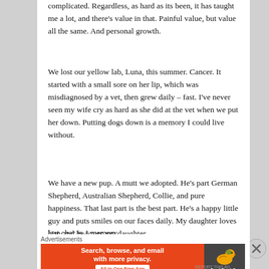complicated. Regardless, as hard as its been, it has taught me a lot, and there’s value in that. Painful value, but value all the same. And personal growth.
We lost our yellow lab, Luna, this summer. Cancer. It started with a small sore on her lip, which was misdiagnosed by a vet, then grew daily – fast. I’ve never seen my wife cry as hard as she did at the vet when we put her down. Putting dogs down is a memory I could live without.
We have a new pup. A mutt we adopted. He’s part German Shepherd, Australian Shepherd, Collie, and pure happiness. That last part is the best part. He’s a happy little guy and puts smiles on our faces daily. My daughter loves him and he loves my daughter.
[Figure (screenshot): DuckDuckGo advertisement banner: 'Search, browse, and email with more privacy. All in One Free App' on orange background with DuckDuckGo duck logo on dark background]